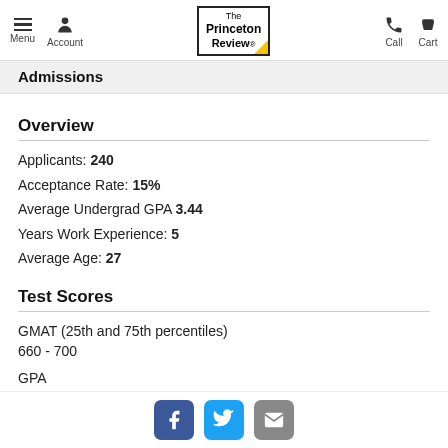Menu  Account  The Princeton Review  Call  Cart
Admissions
Overview
Applicants: 240
Acceptance Rate: 15%
Average Undergrad GPA 3.44
Years Work Experience: 5
Average Age: 27
Test Scores
GMAT (25th and 75th percentiles)
660 - 700
GPA